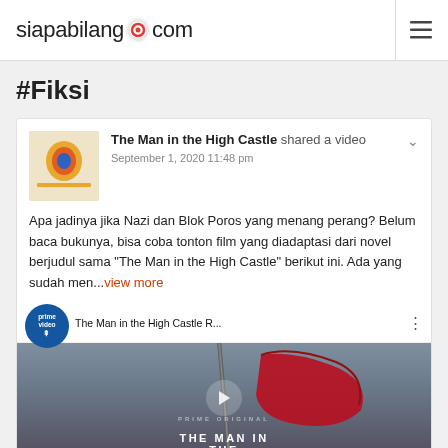siapabilang.com
#Fiksi
The Man in the High Castle shared a video
September 1, 2020 11:48 pm
Apa jadinya jika Nazi dan Blok Poros yang menang perang? Belum baca bukunya, bisa coba tonton film yang diadaptasi dari novel berjudul sama "The Man in the High Castle" berikut ini. Ada yang sudah men...view more
[Figure (screenshot): YouTube video embed for 'The Man in the High Castle R...' showing Prime Video branding, a red flag image, play button, and 'PRIME ORIGINAL / THE MAN IN THE' text overlay]